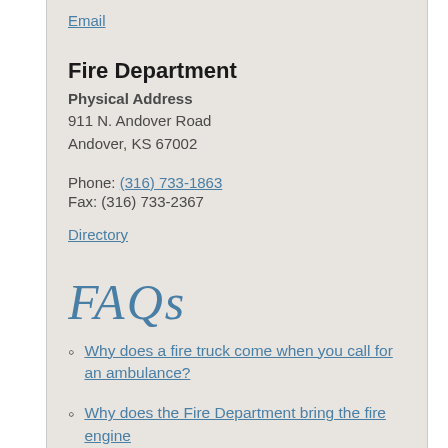Email
Fire Department
Physical Address
911 N. Andover Road
Andover, KS 67002
Phone: (316) 733-1863
Fax: (316) 733-2367
Directory
[Figure (illustration): FAQs written in a cursive/script blue font style]
Why does a fire truck come when you call for an ambulance?
Why does the Fire Department bring the fire engine